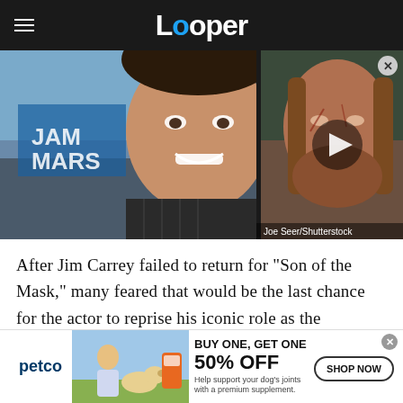Looper
[Figure (photo): Split composite image: left side shows Jim Carrey smiling at an event with partial text 'JAM MARS' visible on a blue backdrop; right side shows a bearded disheveled man from a film/show with a video play button overlay. Attribution reads 'Joe Seer/Shutterstock']
After Jim Carrey failed to return for "Son of the Mask," many feared that would be the last chance for the actor to reprise his iconic role as the
[Figure (screenshot): Petco advertisement banner: 'BUY ONE, GET ONE 50% OFF - Help support your dog's joints with a premium supplement. SHOP NOW' with image of woman with dog and supplement product.]